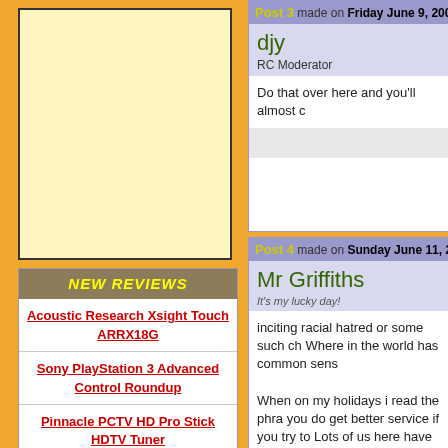[Figure (other): Advertisement banner placeholder - light yellow box]
NEW REVIEWS
Acoustic Research Xsight Touch ARRX18G
Sony PlayStation 3 Advanced Control Roundup
Pinnacle PCTV HD Pro Stick HDTV Tuner
Universal Remote Control Inc. Digital R50
Post 3 made on Friday June 9, 2006 at 18
djy
RC Moderator
Do that over here and you'll almost c
Post 4 made on Sunday June 11, 2006 at
Mr Griffiths
It's my lucky day!
inciting racial hatred or some such ch Where in the world has common sens When on my holidays i read the phra you do get better service if you try to Lots of us here have worked in servic appreciate the customers that made a takelonger time to be dealt with ,whic but it is if they also have an attitude p